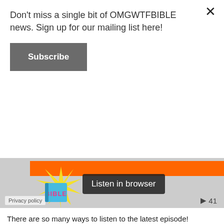Don't miss a single bit of OMGWTFBIBLE news. Sign up for our mailing list here!
Subscribe
[Figure (screenshot): SoundCloud embedded audio player showing a Bible-themed podcast episode with orange bar, starburst illustration, book graphic, 'Listen in browser' tooltip overlay, privacy policy label, and play count of 41]
There are so many ways to listen to the latest episode!
You can listen using the SoundCloud thingie above or by downloading here. Explore our SoundCloud and listen to past episodes here.
You can also: subscribe in iTunes, subscribe via RSS, or listen via Stitcher!
Posted in Announcements, Episodes, Media, News | Tagged ahron